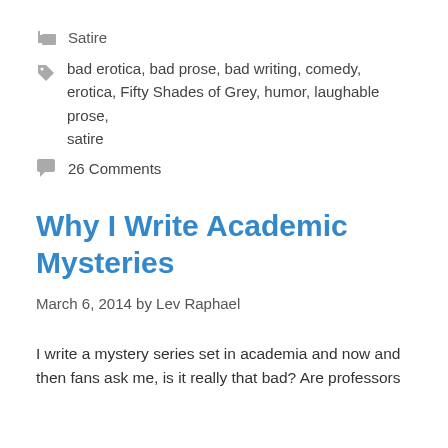Satire
bad erotica, bad prose, bad writing, comedy, erotica, Fifty Shades of Grey, humor, laughable prose, satire
26 Comments
Why I Write Academic Mysteries
March 6, 2014 by Lev Raphael
I write a mystery series set in academia and now and then fans ask me, is it really that bad? Are professors